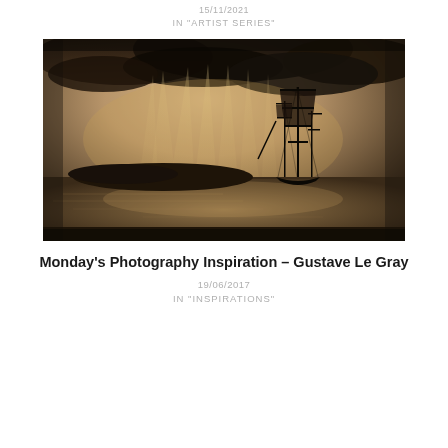15/11/2021
IN "ARTIST SERIES"
[Figure (photo): Sepia-toned photograph of a tall sailing ship on calm water with dramatic light rays breaking through dark storm clouds, with a distant island or headland on the horizon. Classic 19th century maritime photography style.]
Monday's Photography Inspiration – Gustave Le Gray
19/06/2017
IN "INSPIRATIONS"